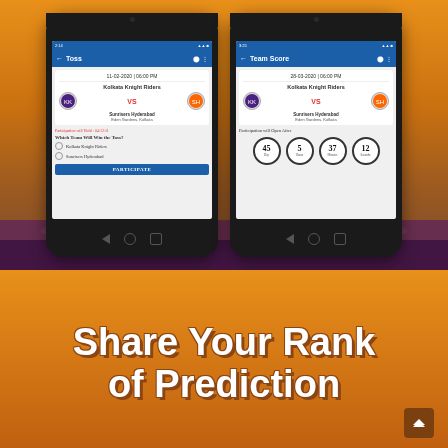[Figure (screenshot): Two smartphone screenshots showing a cricket prediction app. Left phone shows 'Toss' screen with match between Kolkata Knight Riders vs Sunrisers Hyderabad dated 11-02-2020 06:00 PM, with options to predict toss winner and a PARTICIPATE button. Right phone shows 'Team Score' screen with same teams dated 28-03-2020 06:00 PM, a countdown timer showing 45 Days, 5 Hours, 37 Minutes, 12 Seconds. Background has Diwali-themed orange gradient with candle decorations.]
[Figure (infographic): Orange gradient banner with bold white text 'Share Your Rank of Prediction' with brown/dark outline styling.]